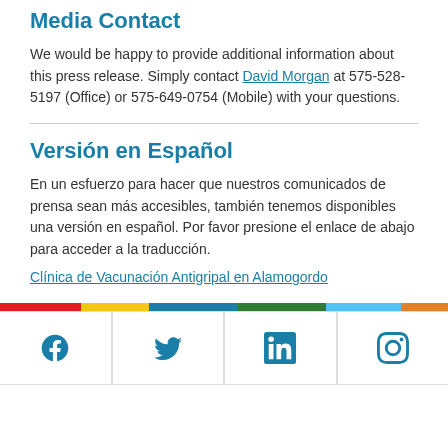Media Contact
We would be happy to provide additional information about this press release. Simply contact David Morgan at 575-528-5197 (Office) or 575-649-0754 (Mobile) with your questions.
Versión en Español
En un esfuerzo para hacer que nuestros comunicados de prensa sean más accesibles, también tenemos disponibles una versión en español. Por favor presione el enlace de abajo para acceder a la traducción.
Clínica de Vacunación Antigripal en Alamogordo
[Figure (infographic): Colored horizontal bar strip followed by a row of four social media icons (Facebook, Twitter, LinkedIn, Instagram) separated by vertical lines]